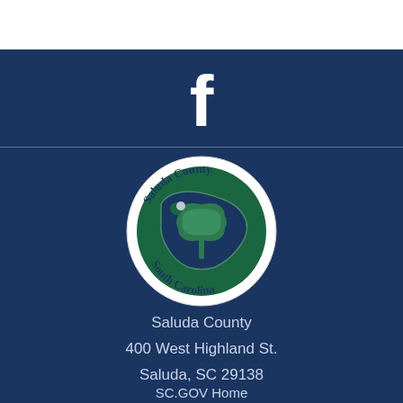[Figure (logo): Facebook 'f' icon in white on dark navy blue background]
[Figure (logo): Saluda County South Carolina official seal: circular white border with dark green center showing South Carolina state outline with palmetto tree and crescent moon, text 'Saluda County' at top and 'South Carolina' at bottom]
Saluda County
400 West Highland St.
Saluda, SC 29138
SC.GOV Home